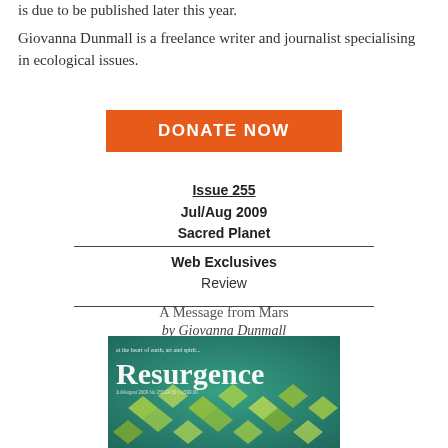is due to be published later this year.
Giovanna Dunmall is a freelance writer and journalist specialising in ecological issues.
[Figure (other): Orange DONATE NOW button]
Issue 255
Jul/Aug 2009
Sacred Planet
Web Exclusives
Review
A Message from Mars
by Giovanna Dunmall
[Figure (photo): Cover of Resurgence magazine Issue 255 Jul/Aug 2009 Sacred Planet, showing manta rays underwater with teal/green coloring. The word 'Resurgence' is displayed prominently in white serif font.]